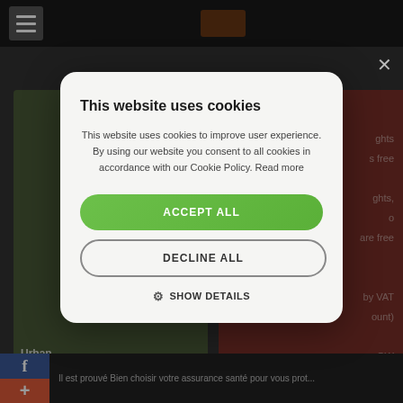[Figure (screenshot): Dark website background with navigation bar, left plant/urban image, right red promotional content area]
This website uses cookies
This website uses cookies to improve user experience. By using our website you consent to all cookies in accordance with our Cookie Policy. Read more
ACCEPT ALL
DECLINE ALL
SHOW DETAILS